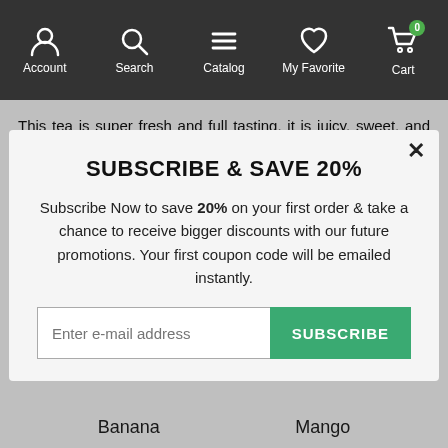Account | Search | Catalog | My Favorite | Cart
This tea is super fresh and full tasting, it is juicy, sweet, and satisfying. Turmeric and ground cherry has natural anti-inflammatory properties, in case you needed any more reason to love this blend!
Steep up a brilliant gold cup of fresh summer delight each and every time, at first sip pineapple and mango take the lead, and the taste fades into a
SUBSCRIBE & SAVE 20%
Subscribe Now to save 20% on your first order & take a chance to receive bigger discounts with our future promotions. Your first coupon code will be emailed instantly.
Enter e-mail address | SUBSCRIBE
Banana
Mango